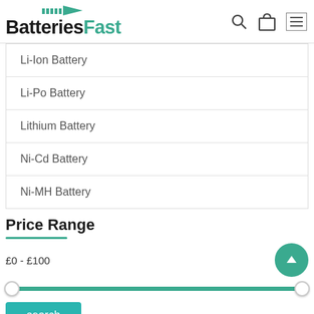BatteriesFast
Li-Ion Battery
Li-Po Battery
Lithium Battery
Ni-Cd Battery
Ni-MH Battery
Price Range
£0 - £100
search